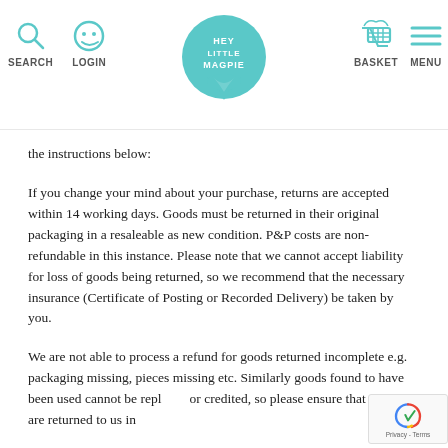SEARCH  LOGIN  HEY LITTLE MAGPIE  BASKET  MENU
the instructions below:
If you change your mind about your purchase, returns are accepted within 14 working days. Goods must be returned in their original packaging in a resaleable as new condition. P&P costs are non-refundable in this instance. Please note that we cannot accept liability for loss of goods being returned, so we recommend that the necessary insurance (Certificate of Posting or Recorded Delivery) be taken by you.
We are not able to process a refund for goods returned incomplete e.g. packaging missing, pieces missing etc. Similarly goods found to have been used cannot be replaced or credited, so please ensure that goods are returned to us in